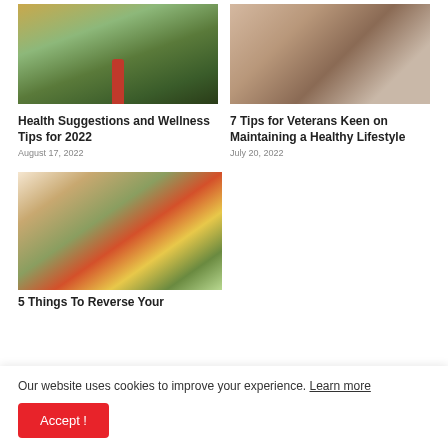[Figure (photo): Person jogging on a tree-lined path with sunlight filtering through]
Health Suggestions and Wellness Tips for 2022
August 17, 2022
[Figure (photo): Elderly couple with grandchildren, smiling]
7 Tips for Veterans Keen on Maintaining a Healthy Lifestyle
July 20, 2022
[Figure (photo): Colorful healthy food bowls with salads and vegetables on a table]
5 Things To Reverse Your
Our website uses cookies to improve your experience. Learn more
Accept !